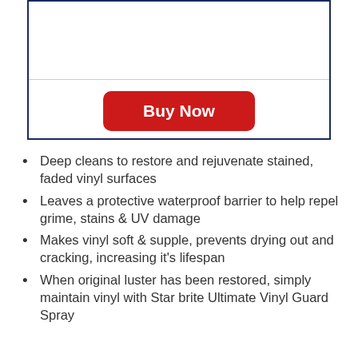[Figure (other): Product image area inside a dark navy border box with a horizontal divider line and a red Buy Now button]
Deep cleans to restore and rejuvenate stained, faded vinyl surfaces
Leaves a protective waterproof barrier to help repel grime, stains & UV damage
Makes vinyl soft & supple, prevents drying out and cracking, increasing it's lifespan
When original luster has been restored, simply maintain vinyl with Star brite Ultimate Vinyl Guard Spray